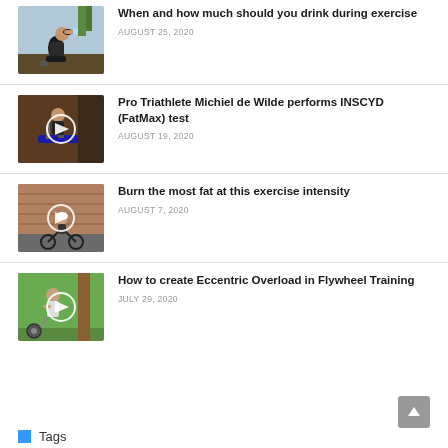[Figure (photo): Woman sitting outdoors drinking from a bottle, fitness attire]
When and how much should you drink during exercise
AUGUST 25, 2020
[Figure (photo): Person on exercise bike indoors, with play button overlay]
Pro Triathlete Michiel de Wilde performs INSCYD (FatMax) test
AUGUST 19, 2020
[Figure (photo): Cyclist outdoors by brick wall with play button overlay]
Burn the most fat at this exercise intensity
AUGUST 7, 2020
[Figure (photo): Person in garden with flywheel training equipment, play button overlay]
How to create Eccentric Overload in Flywheel Training
JULY 29, 2020
Tags